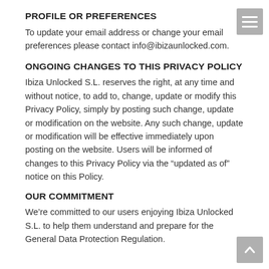PROFILE OR PREFERENCES
To update your email address or change your email preferences please contact info@ibizaunlocked.com.
ONGOING CHANGES TO THIS PRIVACY POLICY
Ibiza Unlocked S.L. reserves the right, at any time and without notice, to add to, change, update or modify this Privacy Policy, simply by posting such change, update or modification on the website. Any such change, update or modification will be effective immediately upon posting on the website. Users will be informed of changes to this Privacy Policy via the “updated as of” notice on this Policy.
OUR COMMITMENT
We’re committed to our users enjoying Ibiza Unlocked S.L. to help them understand and prepare for the General Data Protection Regulation.